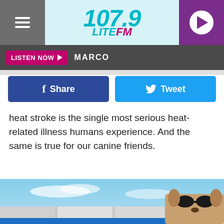[Figure (screenshot): 107.9 Lite FM radio station website header with logo, hamburger menu, and play button]
[Figure (screenshot): Listen Now button bar with MARCO text on dark background]
[Figure (screenshot): Facebook Share and Twitter Tweet social sharing buttons]
heat stroke is the single most serious heat-related illness humans experience. And the same is true for our canine friends.
[Figure (photo): Dog wearing sunglasses on a boat with blue sky background]